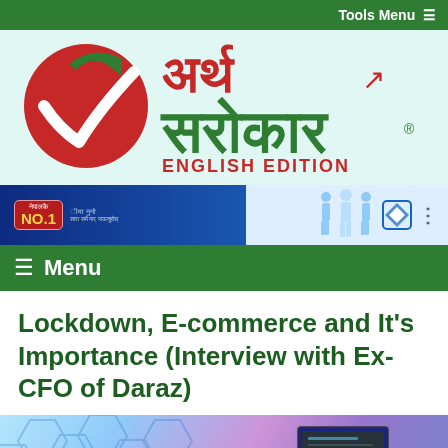Tools Menu ≡
[Figure (logo): Artha Sarokar Nepali logo with checkmark in red circle and Devanagari text, with ENGLISH EDITION subtitle]
[Figure (photo): Advertisement banner with Nepal's No.1 badge on blue gradient background with people figures and blue diamond logo]
≡ Menu
Lockdown, E-commerce and It's Importance (Interview with Ex-CFO of Daraz)
[Figure (photo): Technology background image with blue hexagonal shapes and laptop]